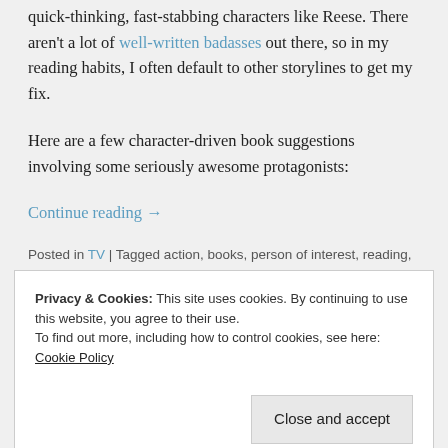quick-thinking, fast-stabbing characters like Reese. There aren't a lot of well-written badasses out there, so in my reading habits, I often default to other storylines to get my fix.
Here are a few character-driven book suggestions involving some seriously awesome protagonists:
Continue reading →
Posted in TV | Tagged action, books, person of interest, reading,
Privacy & Cookies: This site uses cookies. By continuing to use this website, you agree to their use. To find out more, including how to control cookies, see here: Cookie Policy
Close and accept
Posted on March 27, 2013 by thestherogy